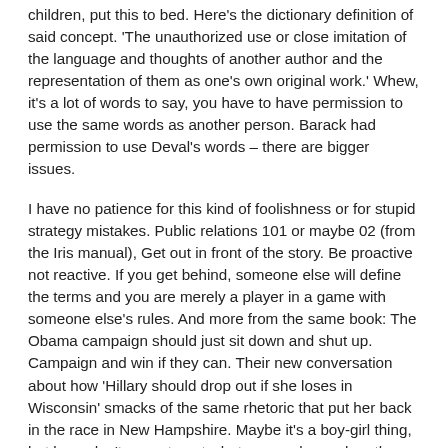children, put this to bed. Here's the dictionary definition of said concept. 'The unauthorized use or close imitation of the language and thoughts of another author and the representation of them as one's own original work.' Whew, it's a lot of words to say, you have to have permission to use the same words as another person. Barack had permission to use Deval's words – there are bigger issues.
I have no patience for this kind of foolishness or for stupid strategy mistakes. Public relations 101 or maybe 02 (from the Iris manual), Get out in front of the story. Be proactive not reactive. If you get behind, someone else will define the terms and you are merely a player in a game with someone else's rules. And more from the same book: The Obama campaign should just sit down and shut up. Campaign and win if they can. Their new conversation about how 'Hillary should drop out if she loses in Wisconsin' smacks of the same rhetoric that put her back in the race in New Hampshire. Maybe it's a boy-girl thing, but boys don't seem to get what women hear when they use this kind of tactic. Women hear "The girl needs to give it up... she can't win, despite the fact that a comeback is possible.. she just needs